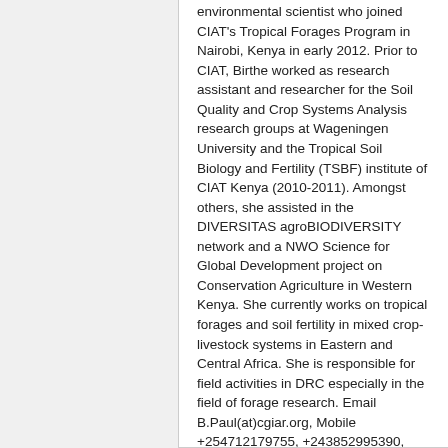environmental scientist who joined CIAT's Tropical Forages Program in Nairobi, Kenya in early 2012. Prior to CIAT, Birthe worked as research assistant and researcher for the Soil Quality and Crop Systems Analysis research groups at Wageningen University and the Tropical Soil Biology and Fertility (TSBF) institute of CIAT Kenya (2010-2011). Amongst others, she assisted in the DIVERSITAS agroBIODIVERSITY network and a NWO Science for Global Development project on Conservation Agriculture in Western Kenya. She currently works on tropical forages and soil fertility in mixed crop-livestock systems in Eastern and Central Africa. She is responsible for field activities in DRC especially in the field of forage research. Email B.Paul(at)cgiar.org, Mobile +254712179755, +243852995390, +250784529692, Skype birthe.paul
Pascal Habumugisha, CIAT, Kigali, Rwanda Email pahabumugisha(at)gmail.com